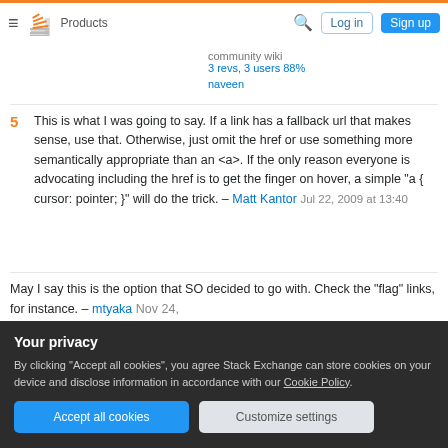≡ [Stack Overflow logo] Products 🔍 Log in Sign up
community wiki
3 revs, 3 users 88%
naveen
5 This is what I was going to say. If a link has a fallback url that makes sense, use that. Otherwise, just omit the href or use something more semantically appropriate than an <a>. If the only reason everyone is advocating including the href is to get the finger on hover, a simple "a { cursor: pointer; }" will do the trick. – Matt Kantor Jul 22, 2009 at 13:40
May I say this is the option that SO decided to go with. Check the "flag" links, for instance. – mtyaka Nov 24,
other than JavaScript, it shouldn't have a href. @Fatih:
Your privacy
By clicking "Accept all cookies", you agree Stack Exchange can store cookies on your device and disclose information in accordance with our Cookie Policy.
Accept all cookies  Customize settings